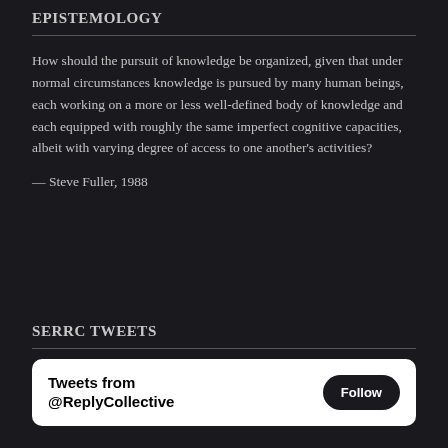EPISTEMOLOGY
How should the pursuit of knowledge be organized, given that under normal circumstances knowledge is pursued by many human beings, each working on a more or less well-defined body of knowledge and each equipped with roughly the same imperfect cognitive capacities, albeit with varying degree of access to one another's activities?
— Steve Fuller, 1988
SERRC TWEETS
[Figure (screenshot): Twitter/X widget showing 'Tweets from @ReplyCollective' with a Follow button]